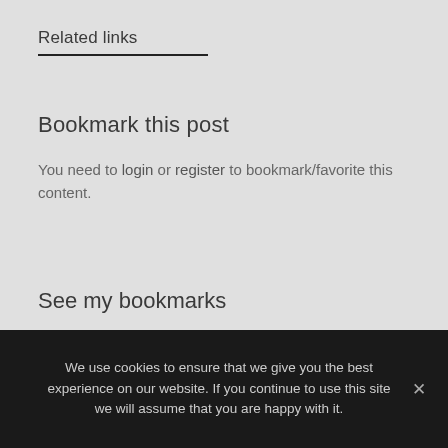Related links
Bookmark this post
You need to login or register to bookmark/favorite this content.
See my bookmarks
We use cookies to ensure that we give you the best experience on our website. If you continue to use this site we will assume that you are happy with it.